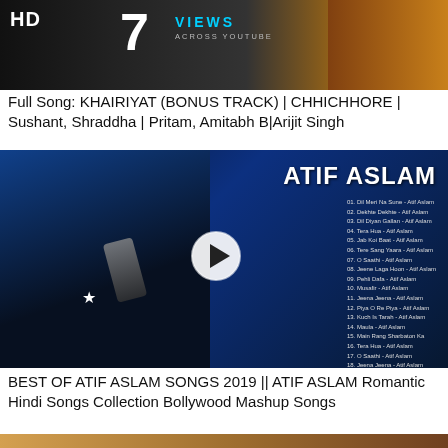[Figure (screenshot): YouTube video thumbnail showing HD badge on left, large '7 VIEWS ACROSS YOUTUBE' text overlay with blue teal color, and a woman in floral top on right. Dark background.]
Full Song: KHAIRIYAT (BONUS TRACK) | CHHICHHORE | Sushant, Shraddha | Pritam, Amitabh B|Arijit Singh
[Figure (screenshot): YouTube video thumbnail for Atif Aslam songs compilation. Dark blue background, man singing into microphone on left, 'ATIF ASLAM' title in large white text on right, numbered song list 01-18 on right side, play button circle overlay in center.]
BEST OF ATIF ASLAM SONGS 2019 || ATIF ASLAM Romantic Hindi Songs Collection Bollywood Mashup Songs
[Figure (screenshot): Partial YouTube video thumbnail at bottom, warm golden/brown tones, partially visible.]